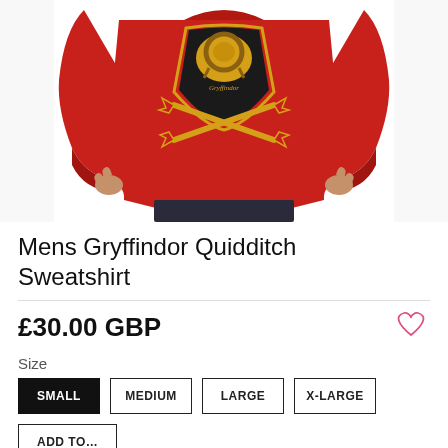[Figure (photo): Man wearing a red Gryffindor Quidditch sweatshirt with a yellow and black lion crest emblem and crossed broomsticks graphic. Torso and arms visible, wearing dark jeans.]
Mens Gryffindor Quidditch Sweatshirt
£30.00 GBP
Size
SMALL
MEDIUM
LARGE
X-LARGE